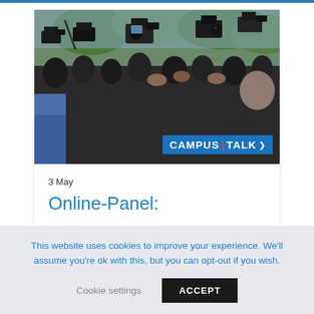[Figure (photo): Crowd of journalists and camera operators holding up cameras and equipment, outdoor setting with trees in background. 'CAMPUS | TALK' logo overlay in bottom right corner of photo.]
3 May
Online-Panel:
This website uses cookies to improve your experience. We'll assume you're ok with this, but you can opt-out if you wish.
Cookie settings    ACCEPT